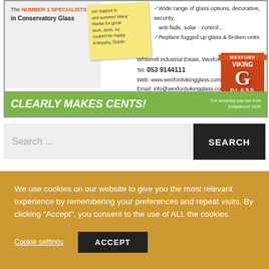[Figure (illustration): Advertisement for Wexford Viking Glass. Contains sticky note, bullet points about glass options, contact details, logo, and green footer with slogan 'CLEARLY MAKES CENTS!']
Search ...
SEARCH
We use cookies on our website to give you the most relevant experience by remembering your preferences and repeat visits. By clicking “Accept”, you consent to the use of ALL the cookies.
Cookie settings
ACCEPT